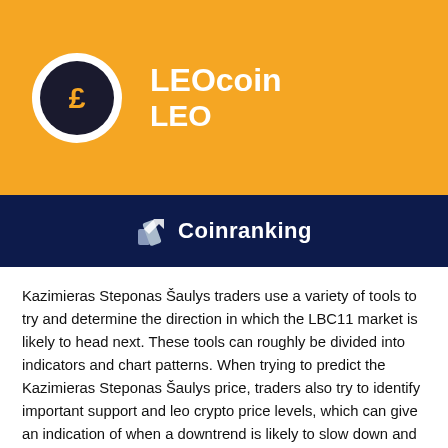[Figure (logo): LEOcoin LEO logo with golden background, circular coin icon and Coinranking branding bar]
Kazimieras Steponas Šaulys traders use a variety of tools to try and determine the direction in which the LBC11 market is likely to head next. These tools can roughly be divided into indicators and chart patterns. When trying to predict the Kazimieras Steponas Šaulys price, traders also try to identify important support and leo crypto price levels, which can give an indication of when a downtrend is likely to slow down and when an uptrend is likely to stall.